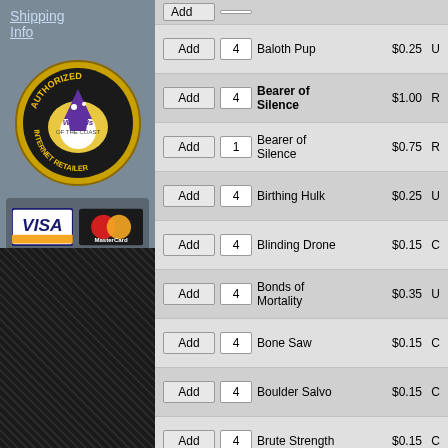Shipping Info
[Figure (logo): Wizards of the Coast Authorized Internet Retailer badge - circular gold and black badge]
[Figure (logo): VISA, MasterCard, and PayPal Verified payment logos]
| Add | Qty | Card Name | Price | Rarity |
| --- | --- | --- | --- | --- |
| Add | 4 | Baloth Pup | $0.25 | U |
| Add | 4 | Bearer of Silence | $1.00 | R |
| Add | 1 | Bearer of Silence | $0.75 | R |
| Add | 4 | Birthing Hulk | $0.25 | U |
| Add | 4 | Blinding Drone | $0.15 | C |
| Add | 4 | Bonds of Mortality | $0.35 | U |
| Add | 4 | Bone Saw | $0.15 | C |
| Add | 4 | Boulder Salvo | $0.15 | C |
| Add | 4 | Brute Strength | $0.15 | C |
| Add | 4 | Call the Gatewatch | $1.00 | R |
| Add | 4 | Canopy Gorger | $0.15 | C |
| Add | 4 | Captain`s Claws | $1.00 | R |
| Add | 2 | Captain`s Claws | $0.75 | R |